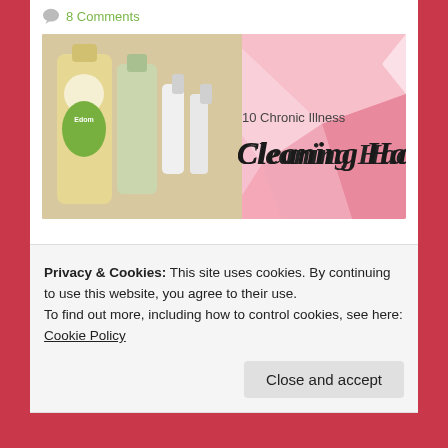8 Comments
[Figure (photo): Blog post banner image showing cleaning products (bottles, sprays) on the left half against a pink geometric background on the right, with text '10 Chronic Illness Cleaning Hacks' in script font]
Happy Friday everyone! We have made it through another week! Who has kids that are breaking up for the Easter holiday
Privacy & Cookies: This site uses cookies. By continuing to use this website, you agree to their use.
To find out more, including how to control cookies, see here: Cookie Policy
Close and accept